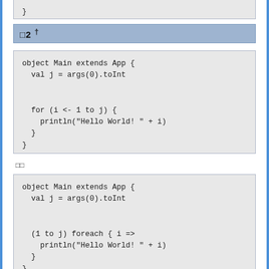}
□2 †
object Main extends App {
  val j = args(0).toInt


  for (i <- 1 to j) {
    println("Hello World! " + i)
  }
}
□□
object Main extends App {
  val j = args(0).toInt


  (1 to j) foreach { i =>
    println("Hello World! " + i)
  }
}